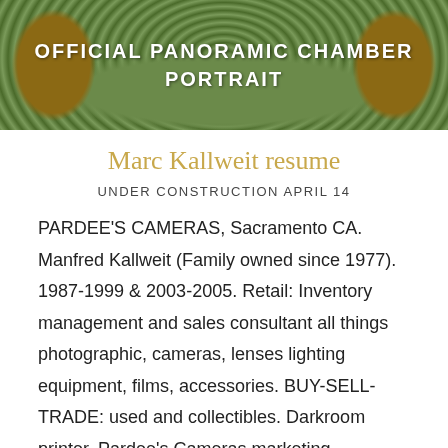[Figure (photo): Panoramic chamber portrait banner image showing ornate green decorative background with brown pillars and text overlay reading OFFICIAL PANORAMIC CHAMBER PORTRAIT]
Marc Kallweit resume
UNDER CONSTRUCTION APRIL 14
PARDEE'S CAMERAS, Sacramento CA. Manfred Kallweit (Family owned since 1977). 1987-1999 & 2003-2005. Retail: Inventory management and sales consultant all things photographic, cameras, lenses lighting equipment, films, accessories. BUY-SELL-TRADE: used and collectibles. Darkroom printer. Pardee's Cameras marketing photography.